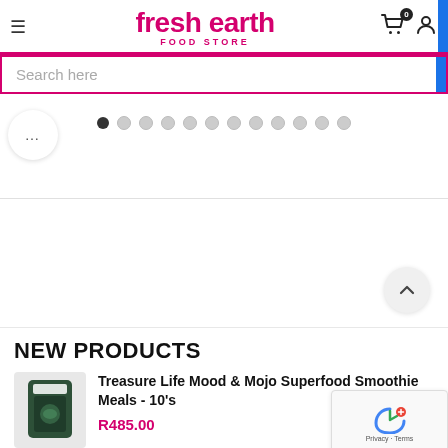fresh earth FOOD STORE
Search here
[Figure (screenshot): Carousel dot navigation with 12 dots, first dot active/filled. Ellipsis button on left. Scroll-up chevron button on lower right.]
NEW PRODUCTS
[Figure (photo): Product thumbnail: Treasure Life Mood & Mojo Superfood Smoothie Meals bag]
Treasure Life Mood & Mojo Superfood Smoothie Meals - 10's
R485.00